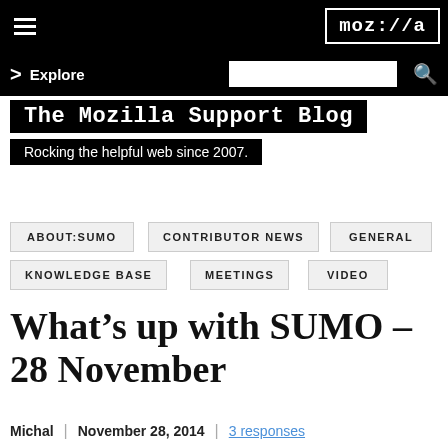moz://a
Explore
The Mozilla Support Blog
Rocking the helpful web since 2007.
ABOUT:SUMO
CONTRIBUTOR NEWS
GENERAL
KNOWLEDGE BASE
MEETINGS
VIDEO
What’s up with SUMO – 28 November
Michal | November 28, 2014 | 3 responses